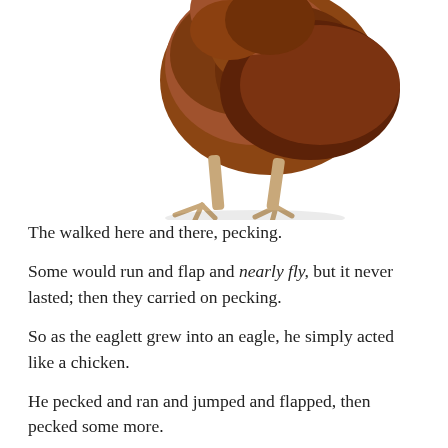[Figure (photo): A brown chicken/chick photographed against a white background, cropped so only the lower body and legs are visible at the top of the page.]
The walked here and there, pecking.
Some would run and flap and nearly fly, but it never lasted; then they carried on pecking.
So as the eaglett grew into an eagle, he simply acted like a chicken.
He pecked and ran and jumped and flapped, then pecked some more.
He looked a little different, but that thought never lasted (think: Mowgli in The Jungle Book).
One day he stopped pecking at the ground and